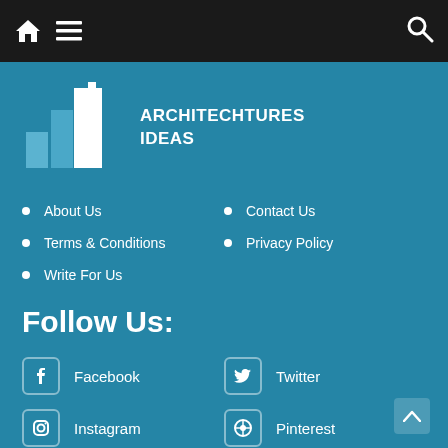Navigation bar with home, menu, and search icons
[Figure (logo): Architechtures Ideas logo with teal building silhouette and white tall building graphic]
About Us
Contact Us
Terms & Conditions
Privacy Policy
Write For Us
Follow Us:
Facebook
Twitter
Instagram
Pinterest